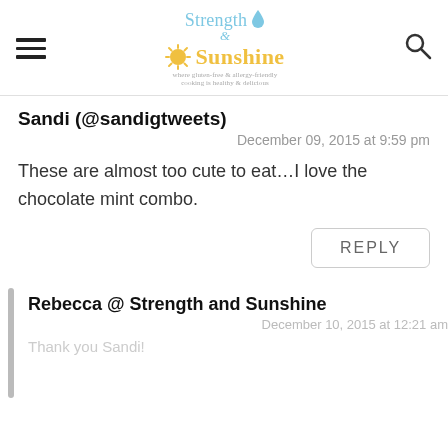Strength & Sunshine [logo with sun and water drop]
Sandi (@sandigtweets)
December 09, 2015 at 9:59 pm
These are almost too cute to eat…I love the chocolate mint combo.
REPLY
Rebecca @ Strength and Sunshine
December 10, 2015 at 12:21 am
Thank you Sandi!